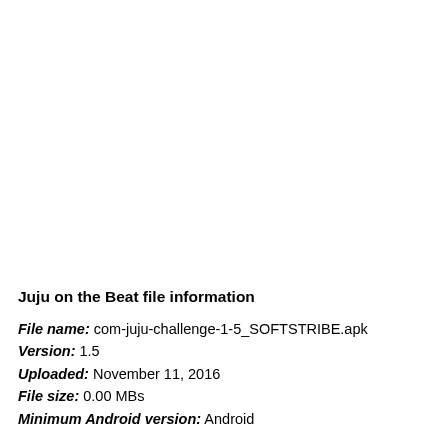Juju on the Beat file information
File name: com-juju-challenge-1-5_SOFTSTRIBE.apk
Version: 1.5
Uploaded: November 11, 2016
File size: 0.00 MBs
Minimum Android version: Android